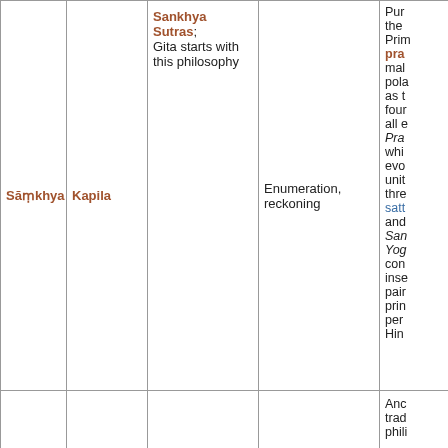| School | Founder | Texts | Meaning | Description |
| --- | --- | --- | --- | --- |
| Sāṃkhya | Kapila | Sankhya Sutras; Gita starts with this philosophy | Enumeration, reckoning | Purusha the Primordial prakriti male polarity as the foundation all existence. Prakriti which evolves unity three sattva and... Samkhya Yoga concepts inseparable pair principles permeate Hindu... |
|  |  |  |  | Ancient tradition philo... |